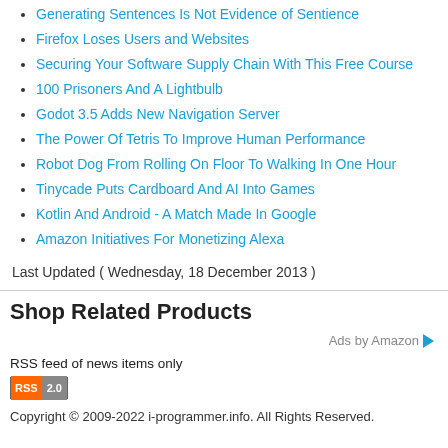Generating Sentences Is Not Evidence of Sentience
Firefox Loses Users and Websites
Securing Your Software Supply Chain With This Free Course
100 Prisoners And A Lightbulb
Godot 3.5 Adds New Navigation Server
The Power Of Tetris To Improve Human Performance
Robot Dog From Rolling On Floor To Walking In One Hour
Tinycade Puts Cardboard And AI Into Games
Kotlin And Android - A Match Made In Google
Amazon Initiatives For Monetizing Alexa
Last Updated ( Wednesday, 18 December 2013 )
Shop Related Products
Ads by Amazon
RSS feed of news items only
[Figure (logo): RSS 2.0 badge logo]
Copyright © 2009-2022 i-programmer.info. All Rights Reserved.